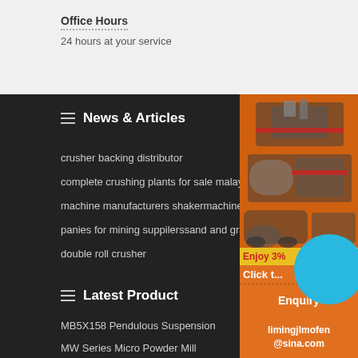Office Hours
24 hours at your service
News & Articles
crusher backing distributor
complete crushing plants for sale malaysia
machine manufacturers shakermachine
panies for mining suppilerssand and gravel cr...
double roll crusher
Latest Product
MB5X158 Pendulous Suspension
MW Series Micro Powder Mill
[Figure (infographic): Orange sidebar advertisement panel with mining/crushing machine images, 'Enjoy 3%' text in red on yellow, 'Click to...' in white, blue circle graphic, Enquiry button, and email limingjlmofen@sina.com]